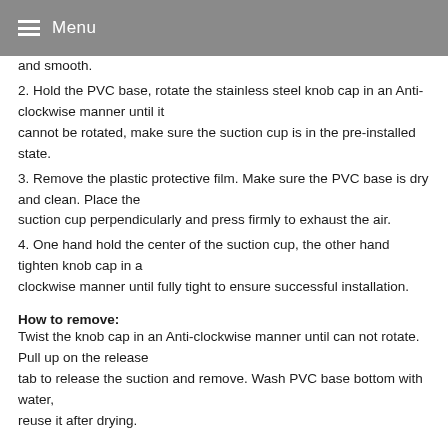Menu
and smooth.
2. Hold the PVC base, rotate the stainless steel knob cap in an Anti-clockwise manner until it cannot be rotated, make sure the suction cup is in the pre-installed state.
3. Remove the plastic protective film. Make sure the PVC base is dry and clean. Place the suction cup perpendicularly and press firmly to exhaust the air.
4. One hand hold the center of the suction cup, the other hand tighten knob cap in a clockwise manner until fully tight to ensure successful installation.
How to remove:
Twist the knob cap in an Anti-clockwise manner until can not rotate. Pull up on the release tab to release the suction and remove. Wash PVC base bottom with water, reuse it after drying.
Matters needing attention: